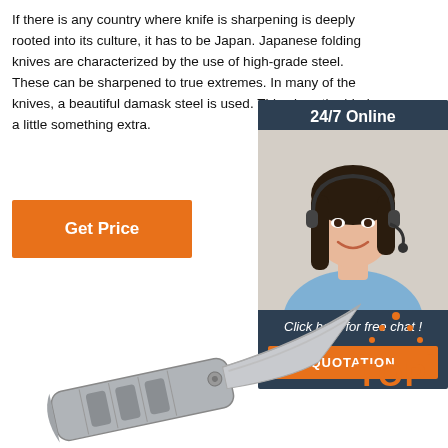If there is any country where knife is sharpening is deeply rooted into its culture, it has to be Japan. Japanese folding knives are characterized by the use of high-grade steel. These can be sharpened to true extremes. In many of the knives, a beautiful damask steel is used. This gives the blade a little something extra.
[Figure (other): Orange 'Get Price' button]
[Figure (other): 24/7 Online chat widget with woman wearing headset, 'Click here for free chat!' text, and orange QUOTATION button]
[Figure (other): Image of a folding knife (Japanese style) at the bottom of the page]
[Figure (logo): TOP logo with orange text and dot-triangle icon in bottom right]